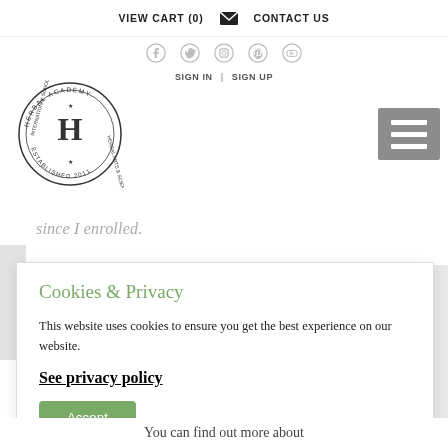VIEW CART (0)  ✉  CONTACT US
[Figure (other): Social media icons row: Facebook, Twitter, Instagram, Pinterest, YouTube]
SIGN IN  |  SIGN UP
[Figure (logo): Herbal Academy International School circular stamp logo with letter H in center, Established 2011]
[Figure (other): Hamburger menu icon (three horizontal lines on grey background)]
since I enrolled.
Cookies & Privacy
This website uses cookies to ensure you get the best experience on our website.
See privacy policy
Accept
You can find out more about